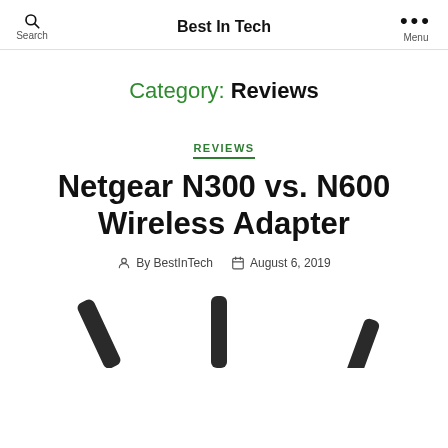Best In Tech
Category: Reviews
REVIEWS
Netgear N300 vs. N600 Wireless Adapter
By BestInTech  August 6, 2019
[Figure (photo): Bottom portion showing dark wireless adapter antennas against white background]